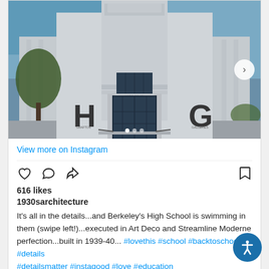[Figure (photo): Exterior of Berkeley High School building, Art Deco / Streamline Moderne style architecture, white facade with large dark blue entrance doors, letters H and G visible on the building pillars, blue sky background, carousel navigation arrow visible on right side]
View more on Instagram
616 likes
1930sarchitecture
It's all in the details...and Berkeley's High School is swimming in them (swipe left!)...executed in Art Deco and Streamline Moderne perfection...built in 1939-40... #lovethis #school #backtoschool #details #detailsmatter #instagood #love #education